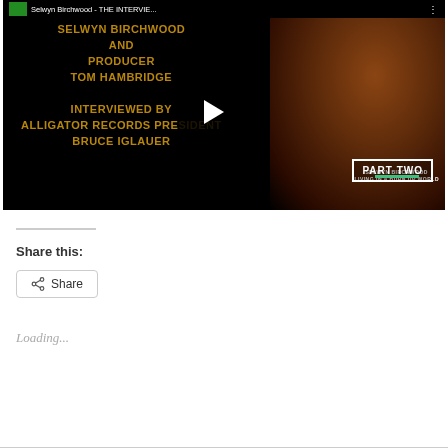[Figure (screenshot): YouTube video thumbnail showing Selwyn Birchwood and Producer Tom Hambridge interviewed by Alligator Records President Bruce Iglauer, Part Two. Black background with gold text on left, person photo on right, play button in center.]
Share this:
Share
Loading...